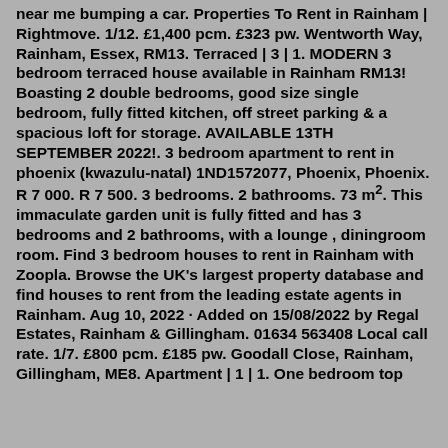near me bumping a car. Properties To Rent in Rainham | Rightmove. 1/12. £1,400 pcm. £323 pw. Wentworth Way, Rainham, Essex, RM13. Terraced | 3 | 1. MODERN 3 bedroom terraced house available in Rainham RM13! Boasting 2 double bedrooms, good size single bedroom, fully fitted kitchen, off street parking & a spacious loft for storage. AVAILABLE 13TH SEPTEMBER 2022!. 3 bedroom apartment to rent in phoenix (kwazulu-natal) 1ND1572077, Phoenix, Phoenix. R 7 000. R 7 500. 3 bedrooms. 2 bathrooms. 73 m². This immaculate garden unit is fully fitted and has 3 bedrooms and 2 bathrooms, with a lounge , diningroom room. Find 3 bedroom houses to rent in Rainham with Zoopla. Browse the UK's largest property database and find houses to rent from the leading estate agents in Rainham. Aug 10, 2022 · Added on 15/08/2022 by Regal Estates, Rainham & Gillingham. 01634 563408 Local call rate. 1/7. £800 pcm. £185 pw. Goodall Close, Rainham, Gillingham, ME8. Apartment | 1 | 1. One bedroom top floor flat to rent in Rainham. More details to follow.